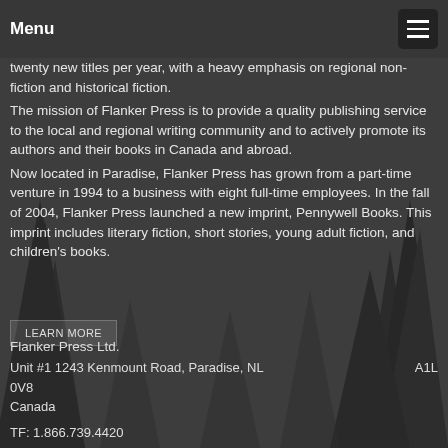Menu
twenty new titles per year, with a heavy emphasis on regional non-fiction and historical fiction.
The mission of Flanker Press is to provide a quality publishing service to the local and regional writing community and to actively promote its authors and their books in Canada and abroad.
Now located in Paradise, Flanker Press has grown from a part-time venture in 1994 to a business with eight full-time employees. In the fall of 2004, Flanker Press launched a new imprint, Pennywell Books. This imprint includes literary fiction, short stories, young adult fiction, and children's books.
LEARN MORE
Flanker Press Ltd.
Unit #1 1243 Kenmount Road, Paradise, NL     A1L 0V8
Canada

TF: 1.866.739.4420